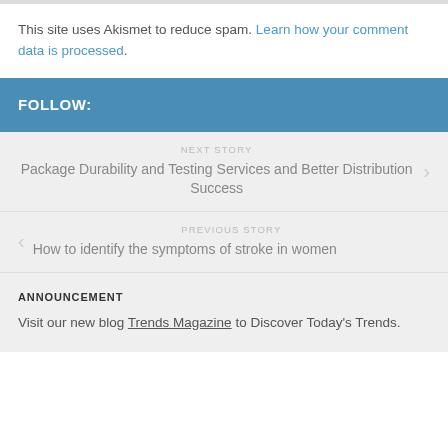This site uses Akismet to reduce spam. Learn how your comment data is processed.
FOLLOW:
NEXT STORY
Package Durability and Testing Services and Better Distribution Success
PREVIOUS STORY
How to identify the symptoms of stroke in women
ANNOUNCEMENT
Visit our new blog Trends Magazine to Discover Today's Trends.